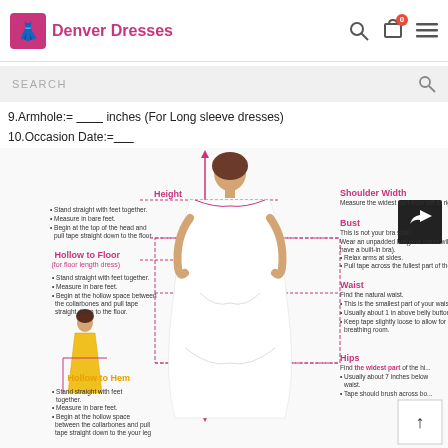Denver Dresses
9.Armhole:= ________ inches (For Long sleeve dresses)
10.Occasion Date:=______
[Figure (illustration): Dress measurement diagram showing a woman in a white gown with labeled measurements: Height, Shoulder Width, Bust, Hollow to Floor, Waist, Hollow to Hem, Hips. Each measurement has dotted lines and bullet-point instructions.]